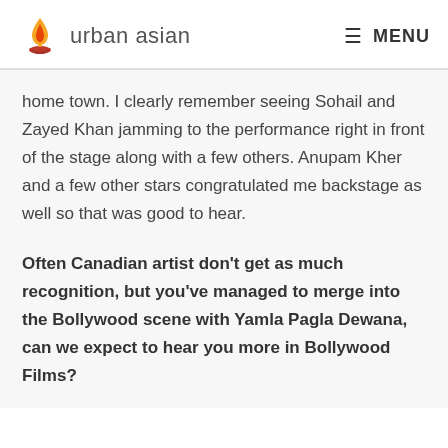urban asian  MENU
home town. I clearly remember seeing Sohail and Zayed Khan jamming to the performance right in front of the stage along with a few others. Anupam Kher and a few other stars congratulated me backstage as well so that was good to hear.
Often Canadian artist don’t get as much recognition, but you’ve managed to merge into the Bollywood scene with Yamla Pagla Dewana, can we expect to hear you more in Bollywood Films?